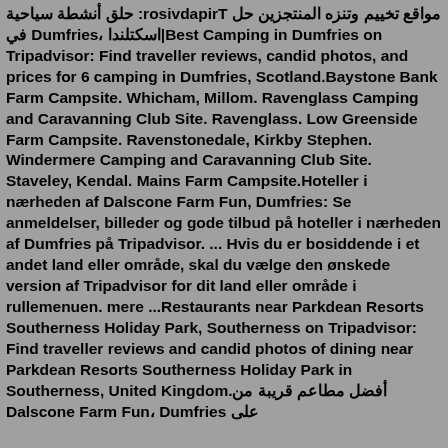مواقع تخييم وتنزه المنتجزين حل Tripadvisor: حلق أنشطة سياحية في Dumfries، اسكتلندا|Best Camping in Dumfries on Tripadvisor: Find traveller reviews, candid photos, and prices for 6 camping in Dumfries, Scotland.Baystone Bank Farm Campsite. Whicham, Millom. Ravenglass Camping and Caravanning Club Site. Ravenglass. Low Greenside Farm Campsite. Ravenstonedale, Kirkby Stephen. Windermere Camping and Caravanning Club Site. Staveley, Kendal. Mains Farm Campsite.Hoteller i nærheden af Dalscone Farm Fun, Dumfries: Se anmeldelser, billeder og gode tilbud på hoteller i nærheden af Dumfries på Tripadvisor. ... Hvis du er bosiddende i et andet land eller område, skal du vælge den ønskede version af Tripadvisor for dit land eller område i rullemenuen. mere ...Restaurants near Parkdean Resorts Southerness Holiday Park, Southerness on Tripadvisor: Find traveller reviews and candid photos of dining near Parkdean Resorts Southerness Holiday Park in Southerness, United Kingdom.أفضل مطاعم قريبة من Dalscone Farm Fun، Dumfries على